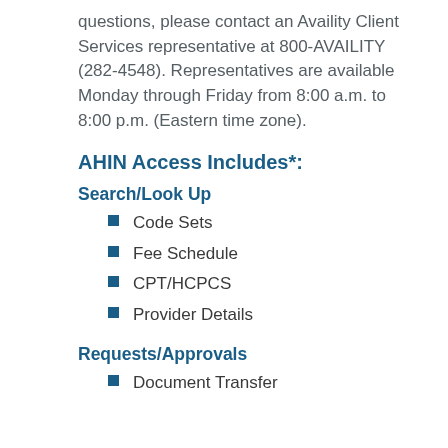questions, please contact an Availity Client Services representative at 800-AVAILITY (282-4548). Representatives are available Monday through Friday from 8:00 a.m. to 8:00 p.m. (Eastern time zone).
AHIN Access Includes*:
Search/Look Up
Code Sets
Fee Schedule
CPT/HCPCS
Provider Details
Requests/Approvals
Document Transfer